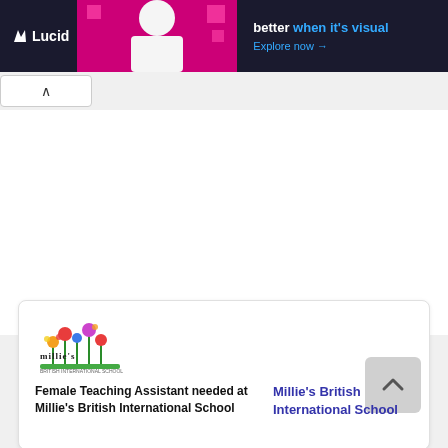[Figure (screenshot): Lucid advertisement banner with dark background, person in pink background, bold text 'better when it's visual' and 'Explore now →']
[Figure (logo): Millie's British International School colorful flower logo]
Female Teaching Assistant needed at Millie's British International School
Millie's British International School